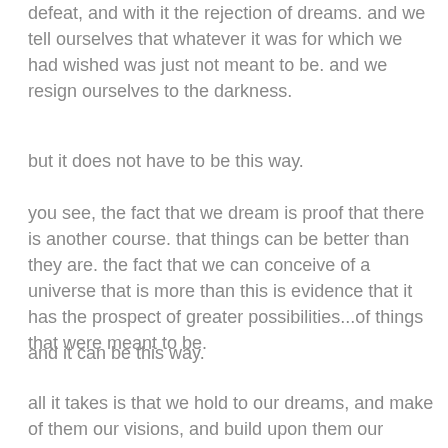defeat, and with it the rejection of dreams. and we tell ourselves that whatever it was for which we had wished was just not meant to be. and we resign ourselves to the darkness.
but it does not have to be this way.
you see, the fact that we dream is proof that there is another course. that things can be better than they are. the fact that we can conceive of a universe that is more than this is evidence that it has the prospect of greater possibilities...of things that were meant to be.
and it can be this way.
all it takes is that we hold to our dreams, and make of them our visions, and build upon them our hopes. and thereby allow ourselves to believe that there can be something else.
and then act to make of it reality.
so that it takes fire against the night. so that we may see the